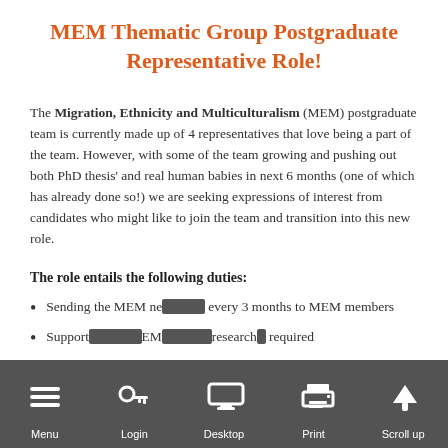MEM Thematic Group Postgraduate Representative Role!
The Migration, Ethnicity and Multiculturalism (MEM) postgraduate team is currently made up of 4 representatives that love being a part of the team. However, with some of the team growing and pushing out both PhD thesis' and real human babies in next 6 months (one of which has already done so!) we are seeking expressions of interest from candidates who might like to join the team and transition into this new role.
The role entails the following duties:
Sending the MEM newsletter every 3 months to MEM members
Supporting the MEM thematic research required